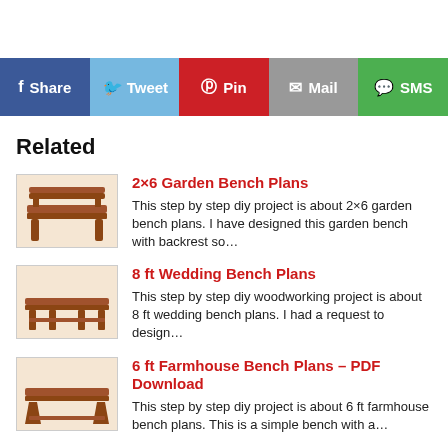[Figure (infographic): Social share bar with buttons: Share (Facebook, blue), Tweet (Twitter, light blue), Pin (Pinterest, red), Mail (grey), SMS (green)]
Related
[Figure (photo): Thumbnail image of a 2x6 garden bench with backrest, wooden construction]
2×6 Garden Bench Plans
This step by step diy project is about 2×6 garden bench plans. I have designed this garden bench with backrest so…
[Figure (photo): Thumbnail image of an 8 ft wedding bench, wooden construction]
8 ft Wedding Bench Plans
This step by step diy woodworking project is about 8 ft wedding bench plans. I had a request to design…
[Figure (photo): Thumbnail image of a 6 ft farmhouse bench, simple wooden construction]
6 ft Farmhouse Bench Plans – PDF Download
This step by step diy project is about 6 ft farmhouse bench plans. This is a simple bench with a…